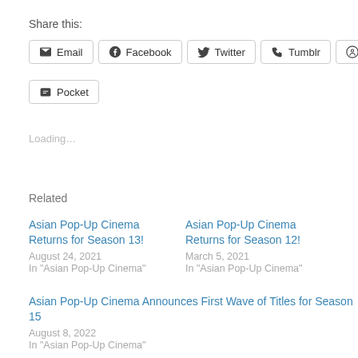Share this:
Email | Facebook | Twitter | Tumblr | Pinterest
Pocket
Loading…
Related
Asian Pop-Up Cinema Returns for Season 13!
August 24, 2021
In "Asian Pop-Up Cinema"
Asian Pop-Up Cinema Returns for Season 12!
March 5, 2021
In "Asian Pop-Up Cinema"
Asian Pop-Up Cinema Announces First Wave of Titles for Season 15
August 8, 2022
In "Asian Pop-Up Cinema"